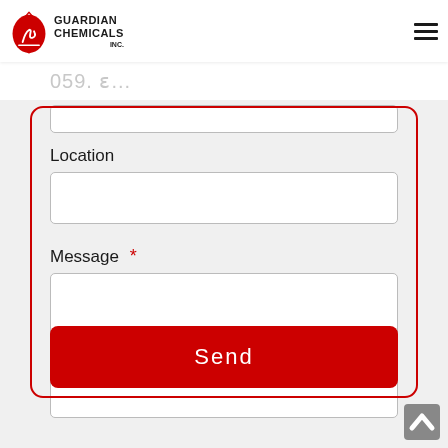Guardian Chemicals Inc. logo and navigation
Location
Message *
Send